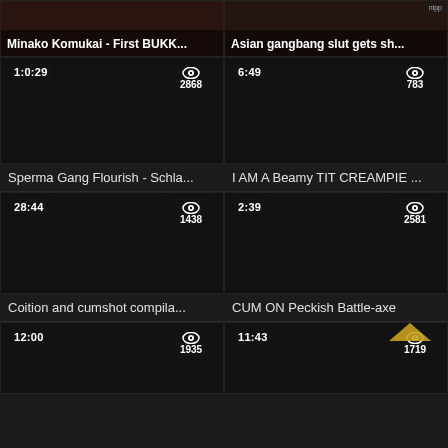[Figure (screenshot): Video thumbnail grid showing adult video titles with duration and view counts. Top row: 'Minako Komukai - First BUKK...' (1:0:29, 2868 views) and 'Asian gangbang slut gets sh...' (6:49, 783 views). Second row: 'Sperma Gang Flourish - Schla...' (28:44, 1438 views) and 'I AM A Beamy TIT CREAMPIE ...' (2:39, 2581 views). Third row: 'Coition and cumshot compila...' (12:00, 1935 views) and 'CUM ON Peckish Battle-axe' (11:43, 1719 views).]